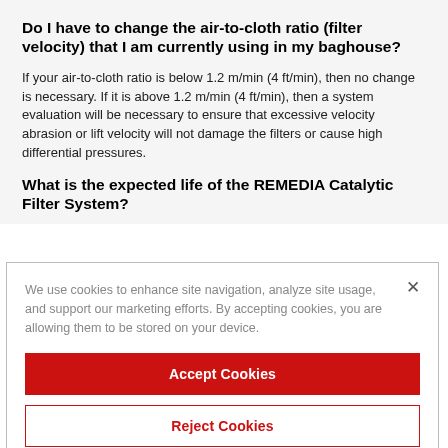Do I have to change the air-to-cloth ratio (filter velocity) that I am currently using in my baghouse?
If your air-to-cloth ratio is below 1.2 m/min (4 ft/min), then no change is necessary. If it is above 1.2 m/min (4 ft/min), then a system evaluation will be necessary to ensure that excessive velocity abrasion or lift velocity will not damage the filters or cause high differential pressures.
What is the expected life of the REMEDIA Catalytic Filter System?
We use cookies to enhance site navigation, analyze site usage, and support our marketing efforts. By accepting cookies, you are allowing them to be stored on your device.
Accept Cookies
Reject Cookies